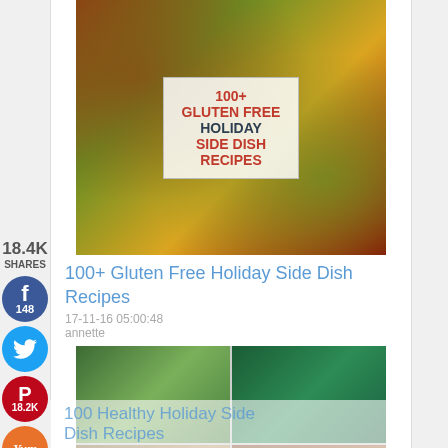[Figure (photo): Food collage photo with text overlay reading '100+ GLUTEN FREE HOLIDAY SIDE DISH RECIPES']
18.4K
SHARES
[Figure (illustration): Facebook share button circle, blue, with 'f' icon and count 148]
[Figure (illustration): Twitter share button circle, light blue, with bird icon]
[Figure (illustration): Pinterest share button circle, red, with P icon and count 18.2K]
[Figure (illustration): Yummly share button circle, orange, with 'Yum' text]
100+ Gluten Free Holiday Side Dish Recipes
17-11-16 05:00:48
annette
[Figure (photo): Collage of 6 photos showing various healthy holiday side dishes including vegetables and grain salads]
100 Healthy Holiday Side Dish Recipes